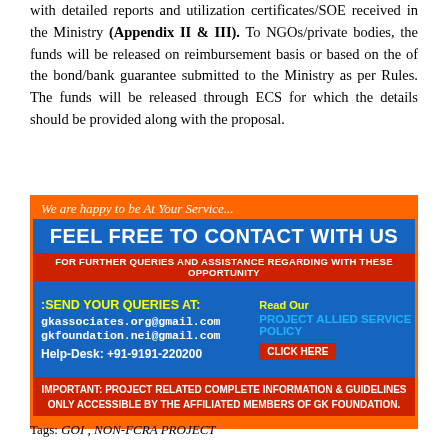with detailed reports and utilization certificates/SOE received in the Ministry (Appendix II & III). To NGOs/private bodies, the funds will be released on reimbursement basis or based on the of the bond/bank guarantee submitted to the Ministry as per Rules. The funds will be released through ECS for which the details should be provided along with the proposal.
[Figure (infographic): GK Foundation banner: 'We are happy to be At Your Service...' header in cursive on orange, 'FEEL FREE TO CONTACT WITH US' in bold white on blue, 'FOR FURTHER QUERIES AND ASSISTANCE REGARDING WITH THESE OPPORTUNITY' in red bar, contact details section with yellow ':SEND YOUR QUERIES AT:' and email addresses gkassociates.org@gmail.com and gkfoundation.nei@gmail.com and Help-Desk: +91-9191-220200 on blue background, right side with 'Read Our PROJECT ALLIED SERVICE POLICY' and 'CLICK HERE' button, bottom red bar 'IMPORTANT: PROJECT RELATED COMPLETE INFORMATION & GUIDELINES ONLY ACCESSIBLE BY THE AFFILIATED MEMBERS OF GK FOUNDATION.']
Tags: GOI , NON-FCRA PROJECT